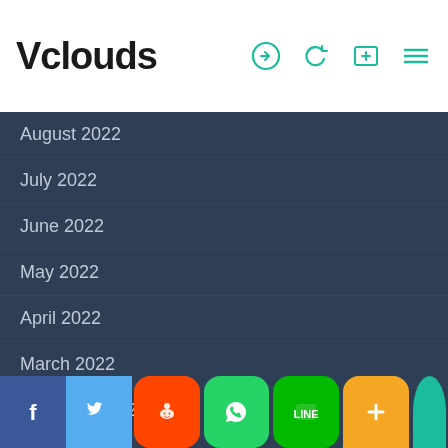Vclouds
August 2022
July 2022
June 2022
May 2022
April 2022
March 2022
February 2022
January 2022
December 2021